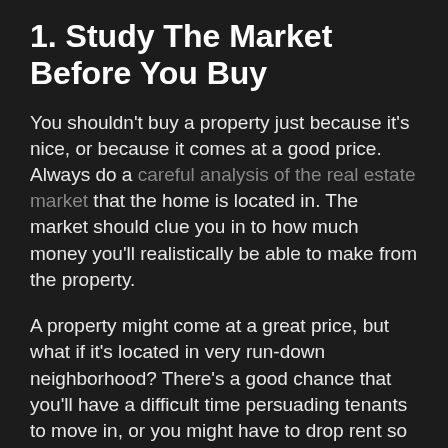1. Study The Market Before You Buy
You shouldn't buy a property just because it's nice, or because it comes at a good price. Always do a careful analysis of the real estate market that the home is located in. The market should clue you in to how much money you'll realistically be able to make from the property.
A property might come at a great price, but what if it's located in very run-down neighborhood? There's a good chance that you'll have a difficult time persuading tenants to move in, or you might have to drop rent so low that you won't actually be able to turn a profit.
Also consider whether or not the real estate market is going to turn around in that particular